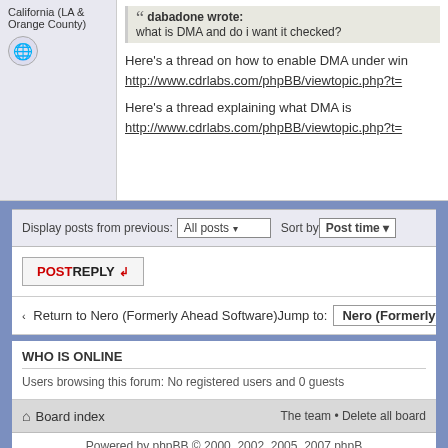California (LA & Orange County)
dabadone wrote: what is DMA and do i want it checked?
Here's a thread on how to enable DMA under win http://www.cdrlabs.com/phpBB/viewtopic.php?t=
Here's a thread explaining what DMA is http://www.cdrlabs.com/phpBB/viewtopic.php?t=
Display posts from previous: All posts ▼  Sort by  Post time ▼
POSTREPLY
‹ Return to Nero (Formerly Ahead Software)  Jump to: Nero (Formerly
WHO IS ONLINE
Users browsing this forum: No registered users and 0 guests
⌂ Board index   The team • Delete all board
Powered by phpBB © 2000, 2002, 2005, 2007 phpB
All Content is Copyright (c) 2001-2022 CDRLabs Inc.